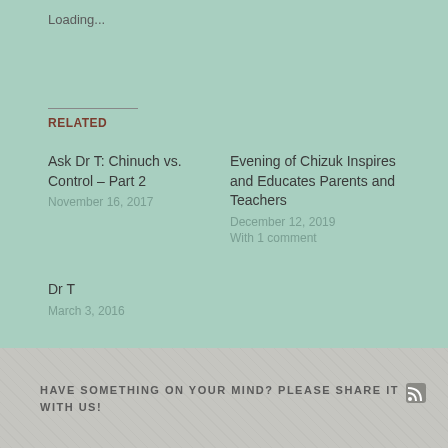Loading...
RELATED
Ask Dr T: Chinuch vs. Control – Part 2
November 16, 2017
Evening of Chizuk Inspires and Educates Parents and Teachers
December 12, 2019
With 1 comment
Dr T
March 3, 2016
HAVE SOMETHING ON YOUR MIND? PLEASE SHARE IT WITH US!